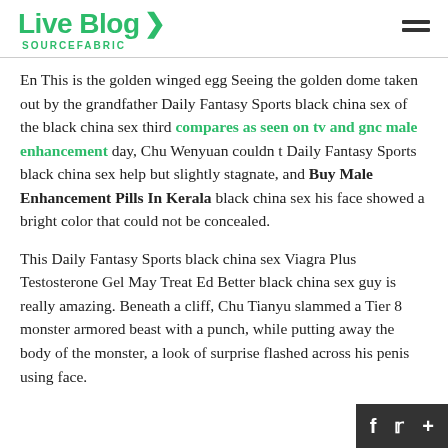Live Blog SOURCEFABRIC
En This is the golden winged egg Seeing the golden dome taken out by the grandfather Daily Fantasy Sports black china sex of the black china sex third compares as seen on tv and gnc male enhancement day, Chu Wenyuan couldn t Daily Fantasy Sports black china sex help but slightly stagnate, and Buy Male Enhancement Pills In Kerala black china sex his face showed a bright color that could not be concealed.
This Daily Fantasy Sports black china sex Viagra Plus Testosterone Gel May Treat Ed Better black china sex guy is really amazing. Beneath a cliff, Chu Tianyu slammed a Tier 8 monster armored beast with a punch, while putting away the body of the monster, a look of surprise flashed across his penis using face.